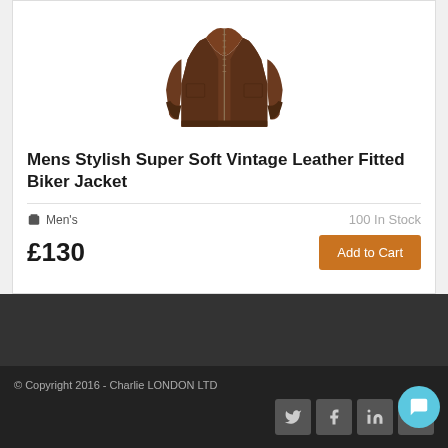[Figure (photo): Brown leather biker jacket product photo on white background]
Mens Stylish Super Soft Vintage Leather Fitted Biker Jacket
Men's   100 In Stock
£130
Add to Cart
© Copyright 2016 - Charlie LONDON LTD